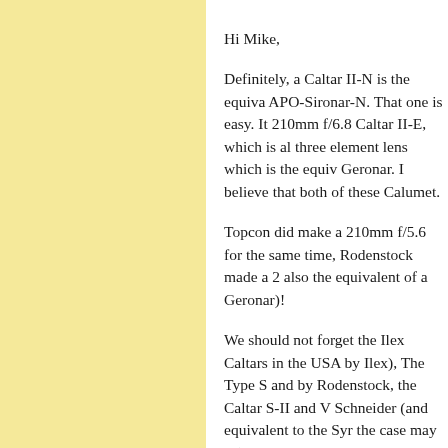Hi Mike,

Definitely, a Caltar II-N is the equivalent of an APO-Sironar-N. That one is easy. It is also the 210mm f/6.8 Caltar II-E, which is also a six three element lens which is the equivalent of a Geronar. I believe that both of these are sold by Calumet.

Topcon did make a 210mm f/5.6 for view cameras, at the same time, Rodenstock made a 210mm f/5.6 (also the equivalent of a Geronar)!

We should not forget the Ilex Caltars (made in the USA by Ilex), The Type S and V were made by Rodenstock, the Caltar S-II and W were by Schneider (and equivalent to the Symmar as the case may be), or the Caltar Pros made by Schneider (which were Tessar or Schneider Xenars, of which the 210